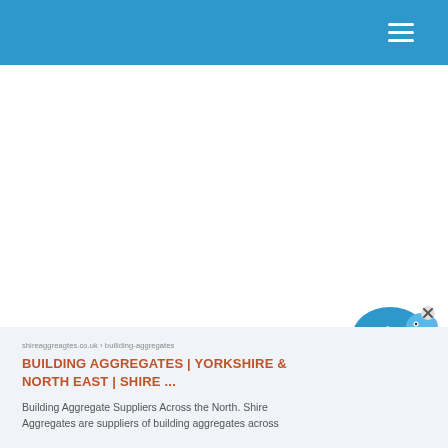[Figure (illustration): Live Chat speech bubble icon with beaver/animal mascot and close (x) button in the upper right]
BUILDING AGGREGATES | YORKSHIRE & NORTH EAST | SHIRE ...
Building Aggregate Suppliers Across the North. Shire Aggregates are suppliers of building aggregates across